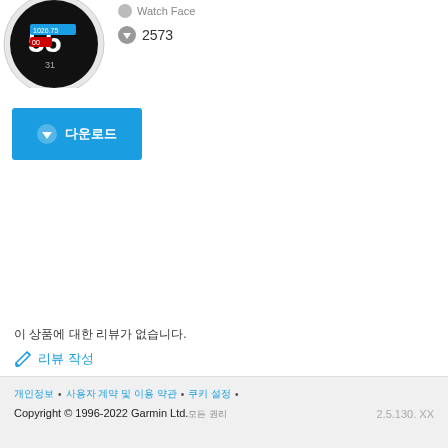[Figure (photo): Partial view of a smartwatch face showing the number 55 and colored data fields]
Watch Face
2573
[Figure (other): Blue download button with down-arrow icon and Korean text for download]
이 상품 리뷰가 없습니다.
리뷰 작성
개인정보 • 사용자 계약 및 이용 약관 • 쿠키 설정 •
Copyright © 1996-2022 Garmin Ltd.모든 권리
2.5.130. XX